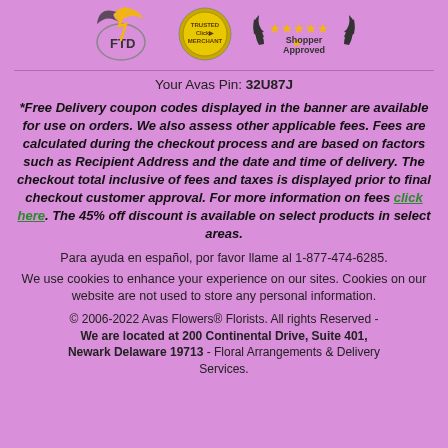[Figure (logo): Three logos: FTD florist logo, Trusted Merchant Click logo, and Shopper Approved star rating logo]
Your Avas Pin: 32U87J
*Free Delivery coupon codes displayed in the banner are available for use on orders. We also assess other applicable fees. Fees are calculated during the checkout process and are based on factors such as Recipient Address and the date and time of delivery. The checkout total inclusive of fees and taxes is displayed prior to final checkout customer approval. For more information on fees click here. The 45% off discount is available on select products in select areas.
Para ayuda en español, por favor llame al 1-877-474-6285.
We use cookies to enhance your experience on our sites. Cookies on our website are not used to store any personal information.
© 2006-2022 Avas Flowers® Florists. All rights Reserved - We are located at 200 Continental Drive, Suite 401, Newark Delaware 19713 - Floral Arrangements & Delivery Services.